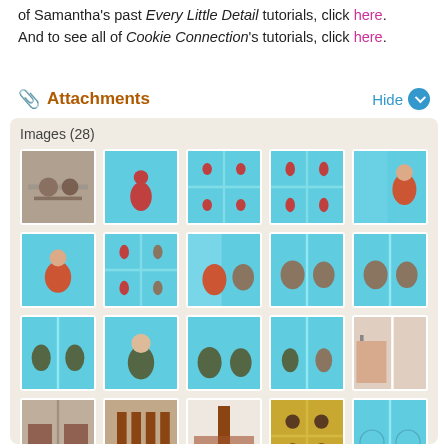of Samantha's past Every Little Detail tutorials, click here. And to see all of Cookie Connection's tutorials, click here.
Attachments
[Figure (screenshot): Attachments panel showing Images (28) — a 5-column, 4-row grid of thumbnail images depicting miniature figurines seated on teal/blue backgrounds, and craft/cookie decorating supplies in the bottom row.]